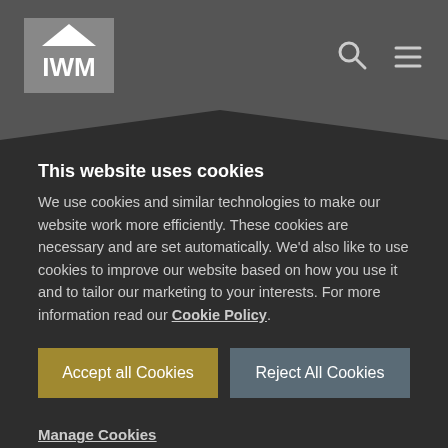IWM
This website uses cookies
We use cookies and similar technologies to make our website work more efficiently. These cookies are necessary and are set automatically. We'd also like to use cookies to improve our website based on how you use it and to tailor our marketing to your interests. For more information read our Cookie Policy.
Accept all Cookies
Reject All Cookies
Manage Cookies